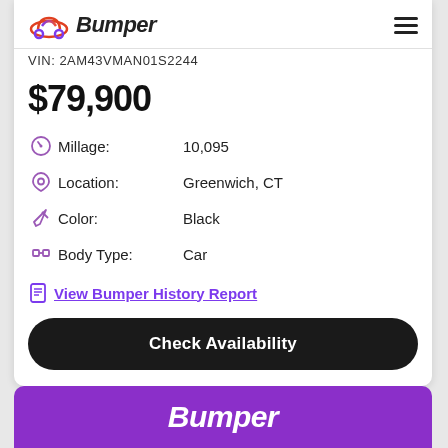Bumper
VIN: 2AM43VMAN01S2244
$79,900
Millage: 10,095
Location: Greenwich, CT
Color: Black
Body Type: Car
View Bumper History Report
Check Availability
Bumper